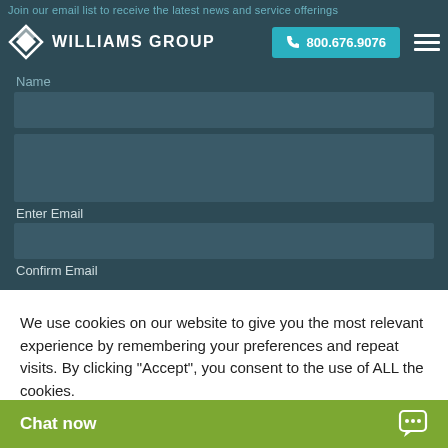Join our email list to receive the latest news and service offerings
[Figure (logo): Williams Group logo with diamond/arrow icon and text WILLIAMS GROUP]
800.676.9076
Name
Enter Email
Confirm Email
We use cookies on our website to give you the most relevant experience by remembering your preferences and repeat visits. By clicking "Accept", you consent to the use of ALL the cookies.
Cookie s[ettings]
Chat now